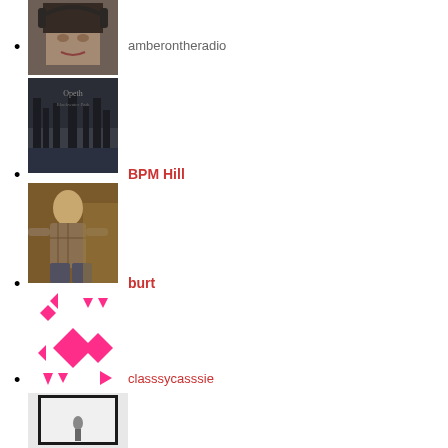amberontheradio
BPM Hill
burt
classsycasssie
[Figure (photo): Partial photo at bottom of page, cropped]
[Figure (photo): Woman with headphones, profile photo for amberontheradio]
[Figure (photo): Album art dark forest scene, profile photo for BPM Hill]
[Figure (photo): Person sitting outdoors, profile photo for burt]
[Figure (illustration): Pink geometric diamond/star pattern, profile image for classsycasssie]